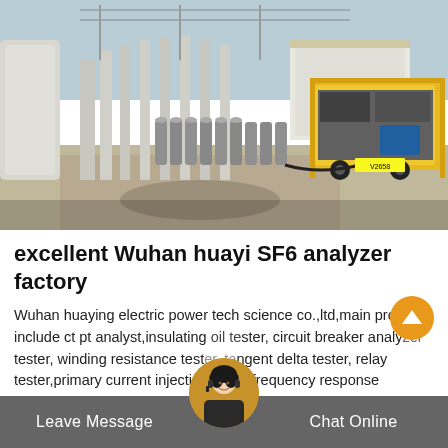[Figure (photo): Industrial electrical substation scene with rows of gas cylinders on the ground, high-voltage equipment, power lines, and a yellow service truck/vehicle on the right side. Sandy/concrete ground with brick paving visible.]
excellent Wuhan huayi SF6 analyzer factory
Wuhan huaying electric power tech science co.,ltd,main products include ct pt analyst,insulating oil tester, circuit breaker analyzer tester, winding resistance tester, tangent delta tester, relay tester,primary current injection tester,frequency response